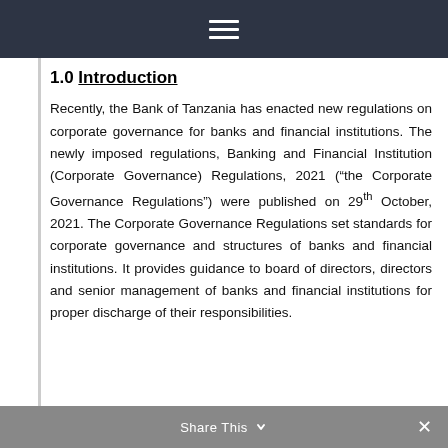Navigation menu icon
1.0 Introduction
Recently, the Bank of Tanzania has enacted new regulations on corporate governance for banks and financial institutions. The newly imposed regulations, Banking and Financial Institution (Corporate Governance) Regulations, 2021 (“the Corporate Governance Regulations”) were published on 29th October, 2021. The Corporate Governance Regulations set standards for corporate governance and structures of banks and financial institutions. It provides guidance to board of directors, directors and senior management of banks and financial institutions for proper discharge of their responsibilities.
Share This